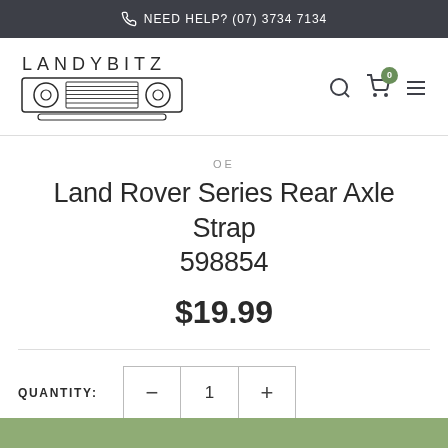NEED HELP? (07) 3734 7134
[Figure (logo): Landybitz logo with text LANDYBITZ and a stylized Land Rover axle/grille illustration below]
OE
Land Rover Series Rear Axle Strap 598854
$19.99
QUANTITY: 1